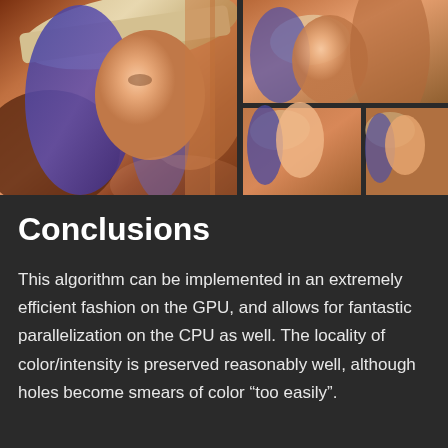[Figure (photo): Two photographs of the classic Lena test image. Left: full-size portrait of a woman wearing a wide-brimmed hat with warm orange/pink tones. Right: a fragmented/pixelated version of the same image split into several smaller blocks arranged in a staircase pattern against a black background.]
Conclusions
This algorithm can be implemented in an extremely efficient fashion on the GPU, and allows for fantastic parallelization on the CPU as well. The locality of color/intensity is preserved reasonably well, although holes become smears of color “too easily”.